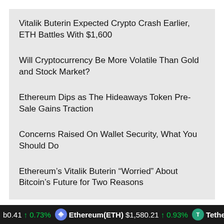Vitalik Buterin Expected Crypto Crash Earlier, ETH Battles With $1,600
Will Cryptocurrency Be More Volatile Than Gold and Stock Market?
Ethereum Dips as The Hideaways Token Pre-Sale Gains Traction
Concerns Raised On Wallet Security, What You Should Do
Ethereum’s Vitalik Buterin “Worried” About Bitcoin’s Future for Two Reasons
POPULAR
Cryptocurrency Price Today: Bitcoin, Ethereum Fail To Impress; TerraClass…
b0.41 ↑ 0.73% | Ethereum(ETH) $1,580.21 ↑ 0.93% | Tethe…